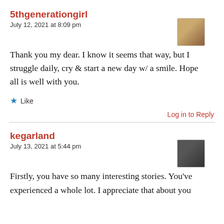5thgenerationgirl
July 12, 2021 at 8:09 pm
Thank you my dear. I know it seems that way, but I struggle daily, cry & start a new day w/ a smile. Hope all is well with you.
Like
Log in to Reply
kegarland
July 13, 2021 at 5:44 pm
Firstly, you have so many interesting stories. You've experienced a whole lot. I appreciate that about you